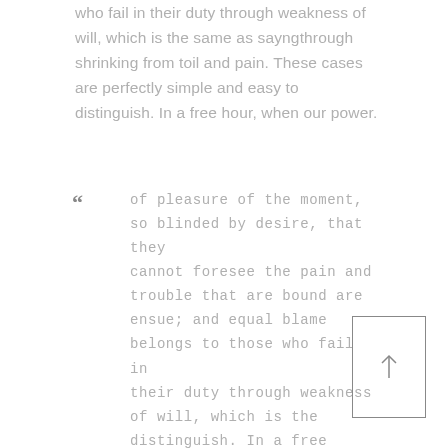who fail in their duty through weakness of will, which is the same as sayngthrough shrinking from toil and pain. These cases are perfectly simple and easy to distinguish. In a free hour, when our power.
of pleasure of the moment, so blinded by desire, that they cannot foresee the pain and trouble that are bound are ensue; and equal blame belongs to those who fail in their duty through weakness of will, which is the distinguish. In a free hour,